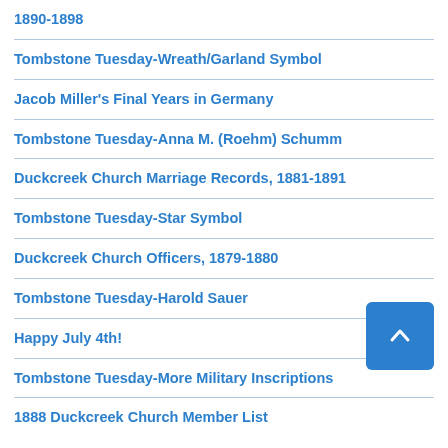1890-1898
Tombstone Tuesday-Wreath/Garland Symbol
Jacob Miller's Final Years in Germany
Tombstone Tuesday-Anna M. (Roehm) Schumm
Duckcreek Church Marriage Records, 1881-1891
Tombstone Tuesday-Star Symbol
Duckcreek Church Officers, 1879-1880
Tombstone Tuesday-Harold Sauer
Happy July 4th!
Tombstone Tuesday-More Military Inscriptions
1888 Duckcreek Church Member List